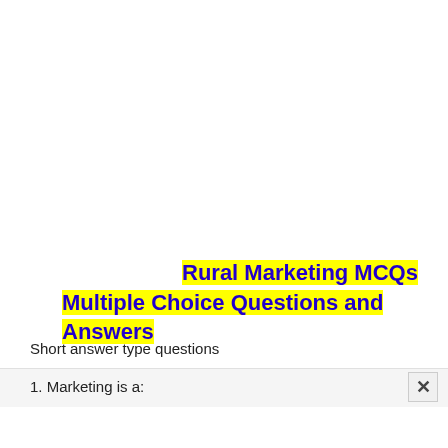Rural Marketing MCQs Multiple Choice Questions and Answers
Short answer type questions
1. Marketing is a: